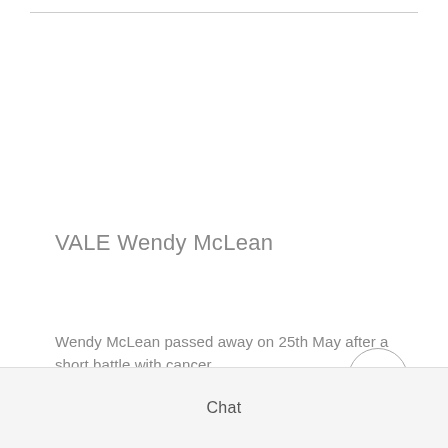VALE Wendy McLean
Wendy McLean passed away on 25th May after a short battle with cancer. Wendy was a stalwart of the Canoe Classic having been involved for over 30 years. She completed the event 11 times, the last in 1998
Chat